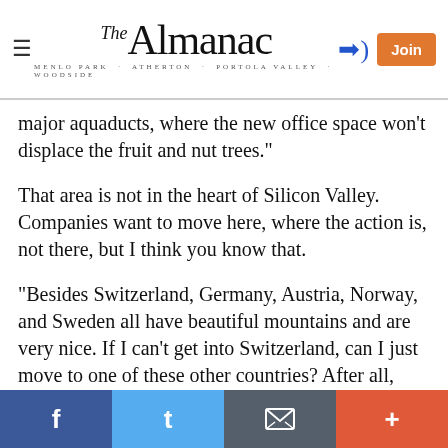The Almanac — Menlo Park · Atherton · Portola Valley · Woodside
major aquaducts, where the new office space won't displace the fruit and nut trees."
That area is not in the heart of Silicon Valley. Companies want to move here, where the action is, not there, but I think you know that.
"Besides Switzerland, Germany, Austria, Norway, and Sweden all have beautiful mountains and are very nice. If I can't get into Switzerland, can I just move to one of these other countries? After all, change happens?"
Yes, you can. Those who dislike the current Palo Alto so intensely might be happier in one of those countries.
Report Objectionable Content
Facebook | Twitter | Email | More